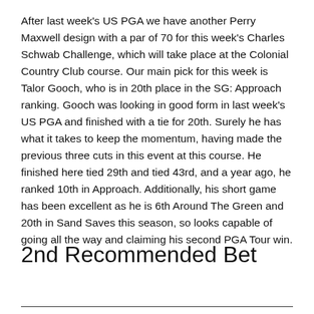After last week's US PGA we have another Perry Maxwell design with a par of 70 for this week's Charles Schwab Challenge, which will take place at the Colonial Country Club course. Our main pick for this week is Talor Gooch, who is in 20th place in the SG: Approach ranking. Gooch was looking in good form in last week's US PGA and finished with a tie for 20th. Surely he has what it takes to keep the momentum, having made the previous three cuts in this event at this course. He finished here tied 29th and tied 43rd, and a year ago, he ranked 10th in Approach. Additionally, his short game has been excellent as he is 6th Around The Green and 20th in Sand Saves this season, so looks capable of going all the way and claiming his second PGA Tour win.
2nd Recommended Bet